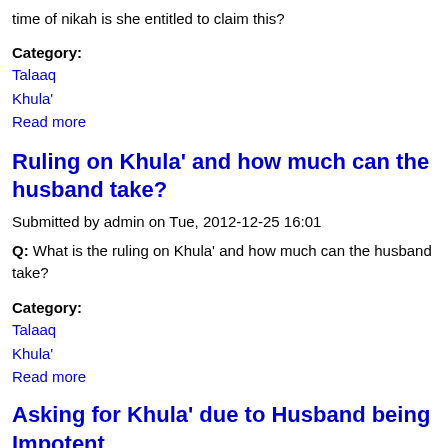time of nikah is she entitled to claim this?
Category:
Talaaq
Khula'
Read more
Ruling on Khula' and how much can the husband take?
Submitted by admin on Tue, 2012-12-25 16:01
Q: What is the ruling on Khula' and how much can the husband take?
Category:
Talaaq
Khula'
Read more
Asking for Khula' due to Husband being Impotent